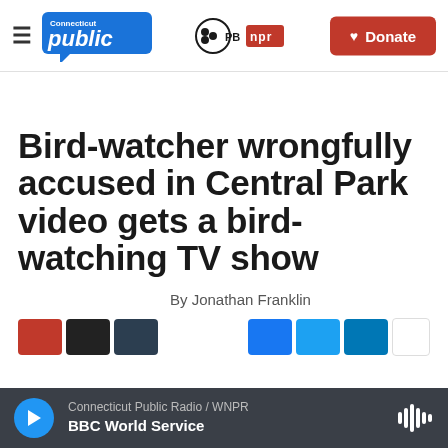Connecticut Public / PBS / NPR — Donate
Bird-watcher wrongfully accused in Central Park video gets a bird-watching TV show
By Jonathan Franklin
Connecticut Public Radio / WNPR — BBC World Service